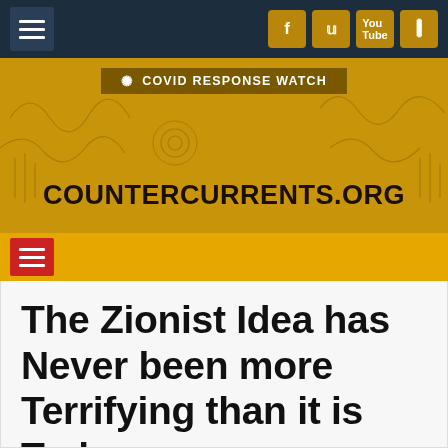COUNTERCURRENTS.ORG
[Figure (screenshot): Website header with navigation bar, social media icons (Facebook, Twitter, YouTube, RSS), COVID Response Watch banner, CounterCurrents.org logo on golden/amber background with faint sketch-style artwork, and red hamburger menu button]
The Zionist Idea has Never been more Terrifying than it is Today